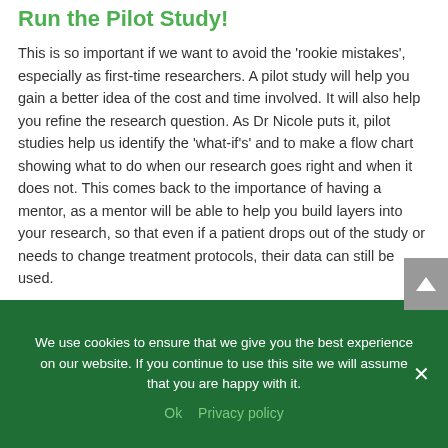Run the Pilot Study!
This is so important if we want to avoid the 'rookie mistakes', especially as first-time researchers. A pilot study will help you gain a better idea of the cost and time involved. It will also help you refine the research question. As Dr Nicole puts it, pilot studies help us identify the 'what-if's' and to make a flow chart showing what to do when our research goes right and when it does not. This comes back to the importance of having a mentor, as a mentor will be able to help you build layers into your research, so that even if a patient drops out of the study or needs to change treatment protocols, their data can still be used.
We use cookies to ensure that we give you the best experience on our website. If you continue to use this site we will assume that you are happy with it.
Ok   Privacy policy